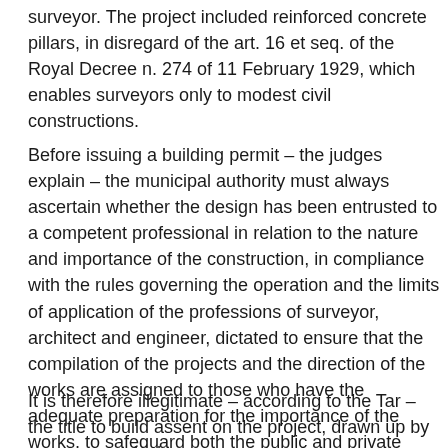surveyor. The project included reinforced concrete pillars, in disregard of the art. 16 et seq. of the Royal Decree n. 274 of 11 February 1929, which enables surveyors only to modest civil constructions.
Before issuing a building permit – the judges explain – the municipal authority must always ascertain whether the design has been entrusted to a competent professional in relation to the nature and importance of the construction, in compliance with the rules governing the operation and the limits of application of the professions of surveyor, architect and engineer, dictated to ensure that the compilation of the projects and the direction of the works are assigned to those who have the adequate preparation for the importance of the works, to safeguard both the public and private economy, and of the the safety of people.
It is therefore illegitimate – according to the Tar – the title to build assent on the project, drawn up by a surveyor, which